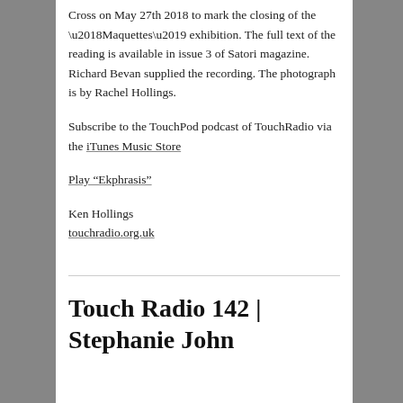Cross on May 27th 2018 to mark the closing of the ‘Maquettes’ exhibition. The full text of the reading is available in issue 3 of Satori magazine. Richard Bevan supplied the recording. The photograph is by Rachel Hollings.
Subscribe to the TouchPod podcast of TouchRadio via the iTunes Music Store
Play “Ekphrasis”
Ken Hollings
touchradio.org.uk
Touch Radio 142 | Stephanie John